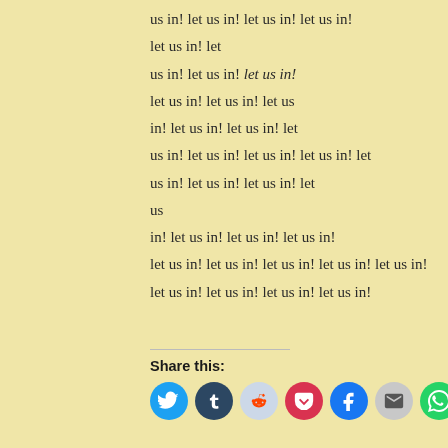us in! let us in! let us in! let us in!

let us in! let

us in! let us in! let us in!

let us in! let us in! let us

in! let us in! let us in! let

us in! let us in! let us in! let us in! let

us in! let us in! let us in! let

us

in! let us in! let us in! let us in!

let us in! let us in! let us in! let us in! let us in!

let us in! let us in! let us in! let us in!
Share this:
[Figure (infographic): Row of circular social media share icons: Twitter (blue), Tumblr (dark blue), Reddit (light blue), Pocket (red), Facebook (blue), Email (grey), WhatsApp (green)]